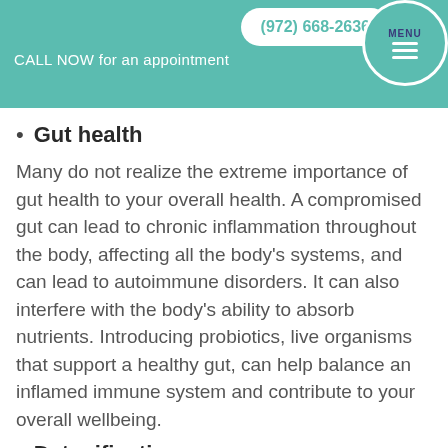CALL NOW for an appointment (972) 668-2636 MENU
Gut health
Many do not realize the extreme importance of gut health to your overall health. A compromised gut can lead to chronic inflammation throughout the body, affecting all the body's systems, and can lead to autoimmune disorders. It can also interfere with the body's ability to absorb nutrients. Introducing probiotics, live organisms that support a healthy gut, can help balance an inflamed immune system and contribute to your overall wellbeing.
Detoxification